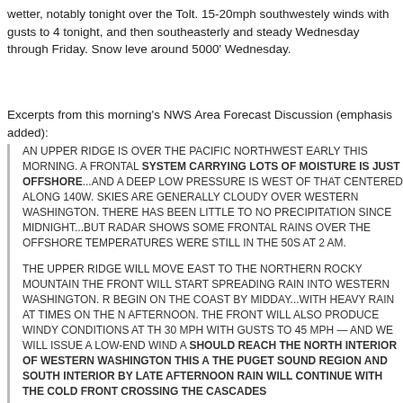wetter, notably tonight over the Tolt. 15-20mph southwestely winds with gusts to 4 tonight, and then southeasterly and steady Wednesday through Friday. Snow leve around 5000' Wednesday.
Excerpts from this morning's NWS Area Forecast Discussion (emphasis added):
AN UPPER RIDGE IS OVER THE PACIFIC NORTHWEST EARLY THIS MORNING. A FRONTAL SYSTEM CARRYING LOTS OF MOISTURE IS JUST OFFSHORE...AND A DEEP LOW PRESSURE IS WEST OF THAT CENTERED ALONG 140W. SKIES ARE GENERALLY CLOUDY OVER WESTERN WASHINGTON. THERE HAS BEEN LITTLE TO NO PRECIPITATION SINCE MIDNIGHT...BUT RADAR SHOWS SOME FRONTAL RAINS OVER THE OFFSHORE WATERS. TEMPERATURES WERE STILL IN THE 50S AT 2 AM.

THE UPPER RIDGE WILL MOVE EAST TO THE NORTHERN ROCKY MOUNTAINS TODAY. THE FRONT WILL START SPREADING RAIN INTO WESTERN WASHINGTON. RAIN WILL BEGIN ON THE COAST BY MIDDAY...WITH HEAVY RAIN AT TIMES ON THE NORTH COAST AFTERNOON. THE FRONT WILL ALSO PRODUCE WINDY CONDITIONS AT TIMES WITH 20 TO 30 MPH WITH GUSTS TO 45 MPH — AND WE WILL ISSUE A LOW-END WIND ADVISORY. FRONT SHOULD REACH THE NORTH INTERIOR OF WESTERN WASHINGTON THIS AFTERNOON AND THE PUGET SOUND REGION AND SOUTH INTERIOR BY LATE AFTERNOON OR EVENING. HEAVY RAIN WILL CONTINUE WITH THE COLD FRONT CROSSING THE CASCADES TONIGHT.

MODELS HAVE BEEN CONSISTENT WITH REGARD TO PRECIPITATION AMOUNTS. WE EXPECT A HALF INCH TO AN INCH OVER MOST OF THE INTERIOR LOWLANDS...WITH 1 TO 2 INCHES AT THE COAST...AND 1 TO 2 INCHES OVER THE MOUNTAINS WITH LOCALLY 2+ INCHES OVER THE OLYMPICS AND MT BAKER. THE SNOW LEVEL WILL BE HIGH — ROUGHLY 9000 TO 10000 FT W